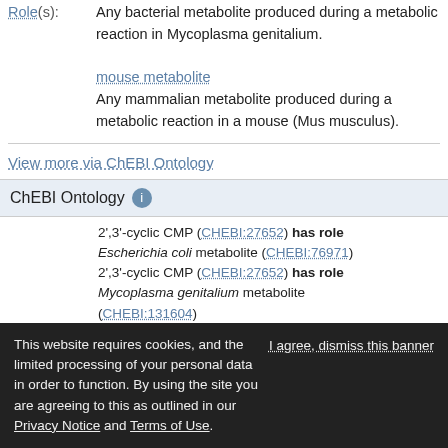Role(s): Any bacterial metabolite produced during a metabolic reaction in Mycoplasma genitalium. mouse metabolite Any mammalian metabolite produced during a metabolic reaction in a mouse (Mus musculus).
View more via ChEBI Ontology
ChEBI Ontology
2',3'-cyclic CMP (CHEBI:27652) has role Escherichia coli metabolite (CHEBI:76971) 2',3'-cyclic CMP (CHEBI:27652) has role Mycoplasma genitalium metabolite (CHEBI:131604)
Outgoing 2',3'-cyclic CMP (CHEBI:27652) has role mouse metabolite (CHEBI:75771) 2',3'-cyclic CMP (CHEBI:27652) is a 2',3'-cyclic
This website requires cookies, and the limited processing of your personal data in order to function. By using the site you are agreeing to this as outlined in our Privacy Notice and Terms of Use. I agree, dismiss this banner